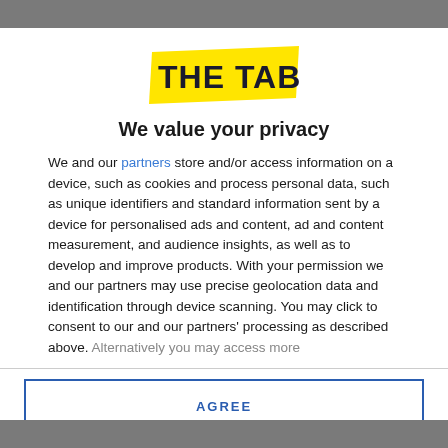[Figure (logo): The Tab logo — yellow banner with dark navy bold text reading 'THE TAB']
We value your privacy
We and our partners store and/or access information on a device, such as cookies and process personal data, such as unique identifiers and standard information sent by a device for personalised ads and content, ad and content measurement, and audience insights, as well as to develop and improve products. With your permission we and our partners may use precise geolocation data and identification through device scanning. You may click to consent to our and our partners' processing as described above. Alternatively you may access more
AGREE
MORE OPTIONS